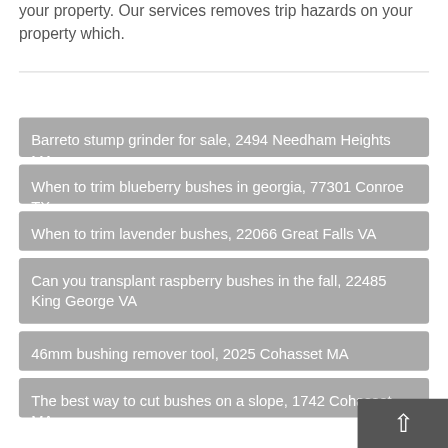your property. Our services removes trip hazards on your property which.
Barreto stump grinder for sale, 2494 Needham Heights MA
When to trim blueberry bushes in georgia, 77301 Conroe TX
When to trim lavender bushes, 22066 Great Falls VA
Can you transplant raspberry bushes in the fall, 22485 King George VA
46mm bushing remover tool, 2025 Cohasset MA
The best way to cut bushes on a slope, 1742 Cohasset MA